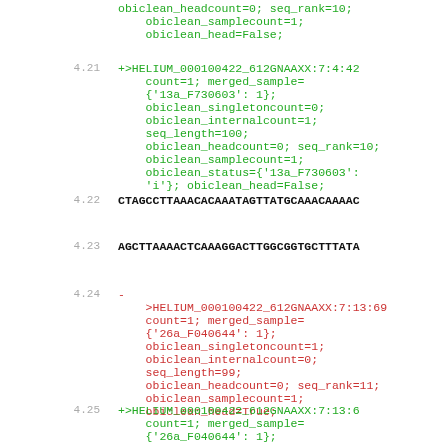obiclean_headcount=0; seq_rank=10;
obiclean_samplecount=1;
obiclean_head=False;
4.21 +>HELIUM_000100422_612GNAAXX:7:4:42 count=1; merged_sample= {'13a_F730603': 1}; obiclean_singletoncount=0; obiclean_internalcount=1; seq_length=100; obiclean_headcount=0; seq_rank=10; obiclean_samplecount=1; obiclean_status={'13a_F730603': 'i'}; obiclean_head=False;
4.22 CTAGCCTTAAACACAAATAGTTATGCAAACAAAAC
4.23 AGCTTAAAACTCAAAGGACTTGGCGGTGCTTTATA
4.24 - >HELIUM_000100422_612GNAAXX:7:13:69 count=1; merged_sample= {'26a_F040644': 1}; obiclean_singletoncount=1; obiclean_internalcount=0; seq_length=99; obiclean_headcount=0; seq_rank=11; obiclean_samplecount=1; obiclean_head=True;
4.25 +>HELIUM_000100422_612GNAAXX:7:13:6 count=1; merged_sample= {'26a_F040644': 1};